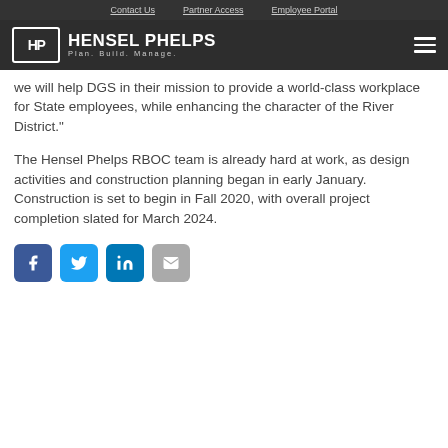Contact Us  Partner Access  Employee Portal
[Figure (logo): Hensel Phelps logo with HP initials in a box and text 'HENSEL PHELPS Plan. Build. Manage.']
we will help DGS in their mission to provide a world-class workplace for State employees, while enhancing the character of the River District."
The Hensel Phelps RBOC team is already hard at work, as design activities and construction planning began in early January. Construction is set to begin in Fall 2020, with overall project completion slated for March 2024.
[Figure (infographic): Social media share icons: Facebook (blue), Twitter (light blue), LinkedIn (blue), Email (grey)]